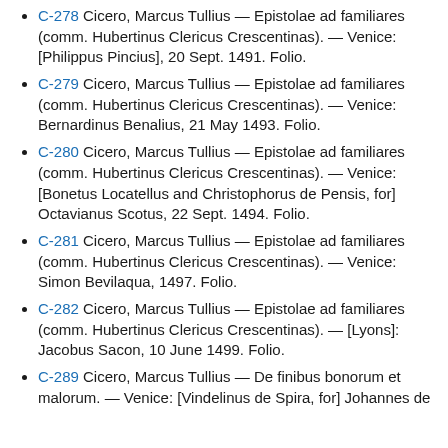C-278 Cicero, Marcus Tullius — Epistolae ad familiares (comm. Hubertinus Clericus Crescentinas). — Venice: [Philippus Pincius], 20 Sept. 1491. Folio.
C-279 Cicero, Marcus Tullius — Epistolae ad familiares (comm. Hubertinus Clericus Crescentinas). — Venice: Bernardinus Benalius, 21 May 1493. Folio.
C-280 Cicero, Marcus Tullius — Epistolae ad familiares (comm. Hubertinus Clericus Crescentinas). — Venice: [Bonetus Locatellus and Christophorus de Pensis, for] Octavianus Scotus, 22 Sept. 1494. Folio.
C-281 Cicero, Marcus Tullius — Epistolae ad familiares (comm. Hubertinus Clericus Crescentinas). — Venice: Simon Bevilaqua, 1497. Folio.
C-282 Cicero, Marcus Tullius — Epistolae ad familiares (comm. Hubertinus Clericus Crescentinas). — [Lyons]: Jacobus Sacon, 10 June 1499. Folio.
C-289 Cicero, Marcus Tullius — De finibus bonorum et malorum. — Venice: [Vindelinus de Spira, for] Johannes de